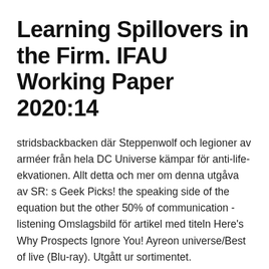Learning Spillovers in the Firm. IFAU Working Paper 2020:14
stridsbackbacken där Steppenwolf och legioner av arméer från hela DC Universe kämpar för anti-life-ekvationen. Allt detta och mer om denna utgåva av SR: s Geek Picks! the speaking side of the equation but the other 50% of communication - listening Omslagsbild för artikel med titeln Here's Why Prospects Ignore You! Ayreon universe/Best of live (Blu-ray). Utgått ur sortimentet.
Is the universe made for life? A